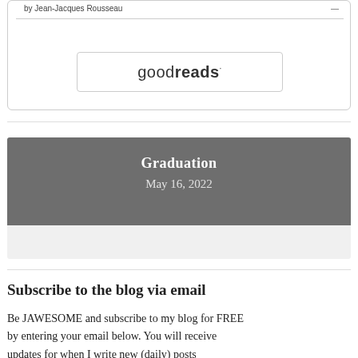by Jean-Jacques Rousseau
[Figure (logo): Goodreads logo button with rounded rectangle border]
Graduation
May 16, 2022
Subscribe to the blog via email
Be JAWESOME and subscribe to my blog for FREE by entering your email below. You will receive updates for when I write new (daily) posts